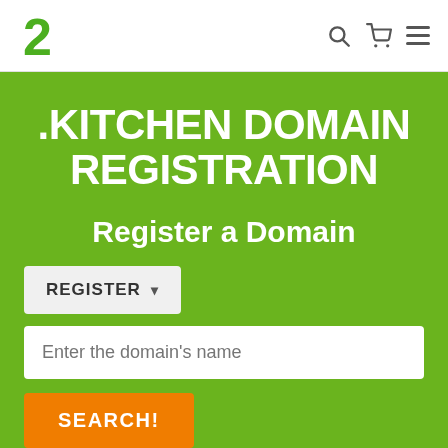2checkout logo, search icon, cart icon, hamburger menu
.KITCHEN DOMAIN REGISTRATION
Register a Domain
REGISTER dropdown
Enter the domain's name
SEARCH!